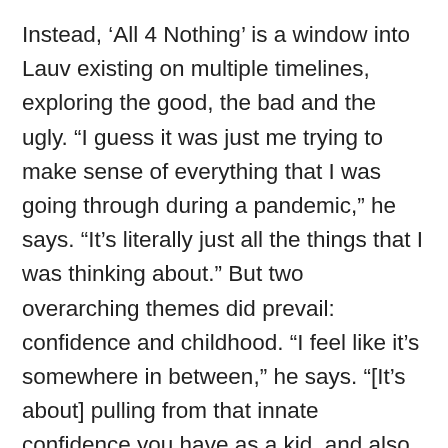Instead, ‘All 4 Nothing’ is a window into Lauv existing on multiple timelines, exploring the good, the bad and the ugly. “I guess it was just me trying to make sense of everything that I was going through during a pandemic,” he says. “It’s literally just all the things that I was thinking about.” But two overarching themes did prevail: confidence and childhood. “I feel like it’s somewhere in between,” he says. “[It’s about] pulling from that innate confidence you have as a kid, and also accepting that you’ve got to grow up at the same time.” Upcoming single ‘Kids Are Born Stars’ represented a chance to “rewrite my history”, as he boasts to an unrequited crush that he will one